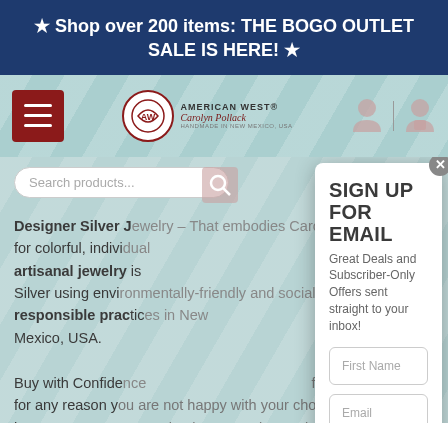★ Shop over 200 items: THE BOGO OUTLET SALE IS HERE! ★
[Figure (screenshot): Navigation bar with hamburger menu button, American West Jewelry logo, user account icon, and cart icon on a teal patterned background]
Search products...
Designer Silver Jewelry – That embodies Carolyn's passion for colorful, individual artisanal jewelry is Silver using environmentally-friendly and socially responsible practices in New Mexico, USA.
SIGN UP FOR EMAIL
Great Deals and Subscriber-Only Offers sent straight to your inbox!
First Name
Email
LET'S HIT THE TRAIL, PARDNER!
Buy with Confidence for any reason you are not happy with your choice; we will honor our 100% money back no questions asked 30-day